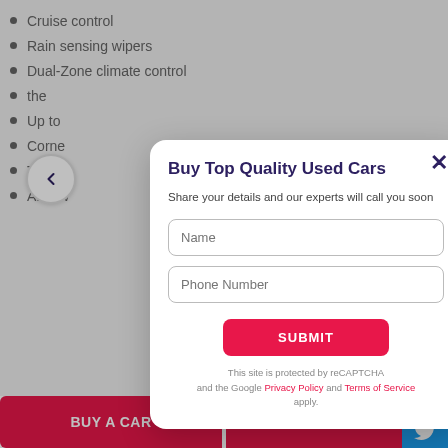Cruise control
Rain sensing wipers
Dual-Zone climate control
[Figure (screenshot): Modal dialog overlay on a car listing webpage. The modal is titled 'Buy Top Quality Used Cars' with subtitle 'Share your details and our experts will call you soon', containing Name and Phone Number input fields, a SUBMIT button, and reCAPTCHA notice with Privacy Policy and Terms of Service links.]
BUY A CAR
SELL YOUR CAR